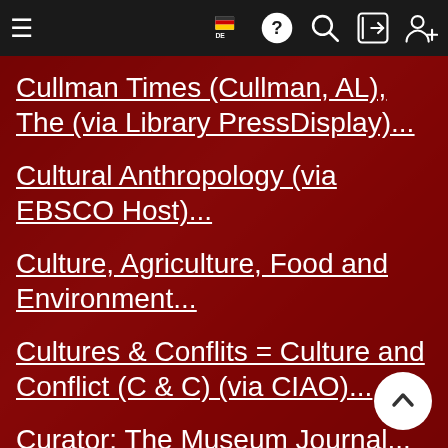Navigation bar with hamburger menu, flag/DE language, help, search, login, and register icons
Cullman Times (Cullman, AL), The (via Library PressDisplay)...
Cultural Anthropology (via EBSCO Host)...
Culture, Agriculture, Food and Environment...
Cultures & Conflits = Culture and Conflict (C & C) (via CIAO)...
Curator: The Museum Journal...